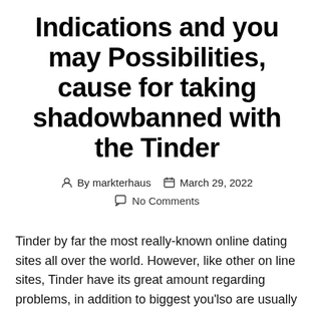Indications and you may Possibilities, cause for taking shadowbanned with the Tinder
By markterhaus   March 29, 2022   No Comments
Tinder by far the most really-known online dating sites all over the world. However, like other on line sites, Tinder have its great amount regarding problems, in addition to biggest you'lso are usually acquiring banned. Whenever Tinder shadowban occurs at some point your'lso are invisible so you can rest…